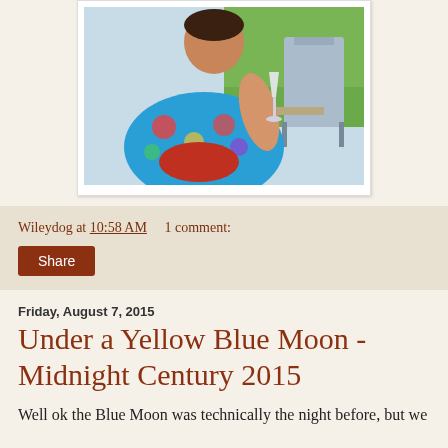[Figure (photo): A person wearing a colorful Hawaiian shirt holding a wine glass, seated outdoors near patio furniture and greenery.]
Wileydog at 10:58 AM    1 comment:
Share
Friday, August 7, 2015
Under a Yellow Blue Moon - Midnight Century 2015
Well ok the Blue Moon was technically the night before, but we